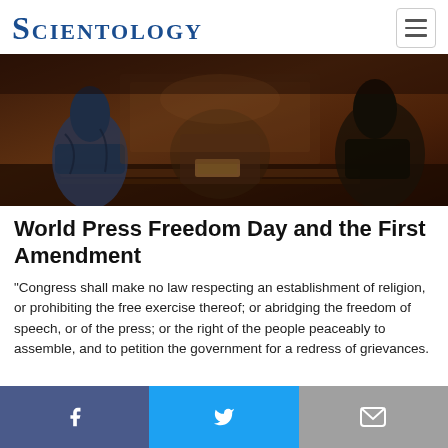SCIENTOLOGY
[Figure (photo): Dark historical painting showing figures in period clothing, possibly depicting a signing or gathering scene with dark brown and blue tones.]
World Press Freedom Day and the First Amendment
“Congress shall make no law respecting an establishment of religion, or prohibiting the free exercise thereof; or abridging the freedom of speech, or of the press; or the right of the people peaceably to assemble, and to petition the government for a redress of grievances.